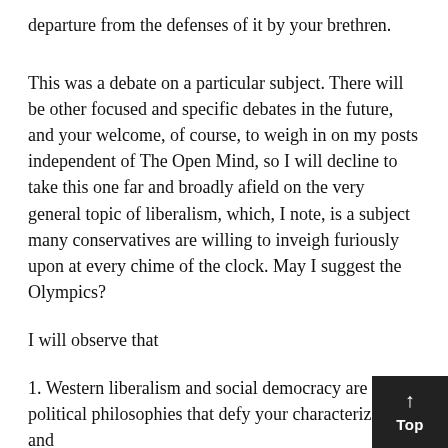departure from the defenses of it by your brethren.
This was a debate on a particular subject. There will be other focused and specific debates in the future, and your welcome, of course, to weigh in on my posts independent of The Open Mind, so I will decline to take this one far and broadly afield on the very general topic of liberalism, which, I note, is a subject many conservatives are willing to inveigh furiously upon at every chime of the clock. May I suggest the Olympics?
I will observe that
1. Western liberalism and social democracy are leftist political philosophies that defy your characterization, and
2. since your definition of a decent liberal is a class apparently no members, I find myself gazing into the